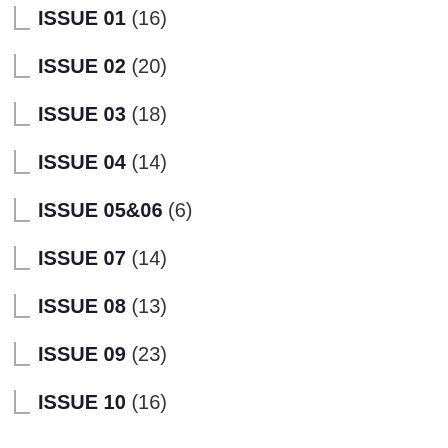ISSUE 01 (16)
ISSUE 02 (20)
ISSUE 03 (18)
ISSUE 04 (14)
ISSUE 05&06 (6)
ISSUE 07 (14)
ISSUE 08 (13)
ISSUE 09 (23)
ISSUE 10 (16)